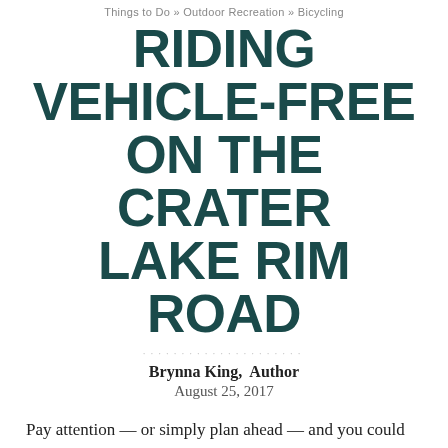Things to Do » Outdoor Recreation » Bicycling
RIDING VEHICLE-FREE ON THE CRATER LAKE RIM ROAD
Brynna King,  Author
August 25, 2017
Pay attention — or simply plan ahead — and you could enjoy a rare opportunity to experience
ORDER A FREE TRAVEL GUIDE →
First, some inspiration. The Crater Lake Rim